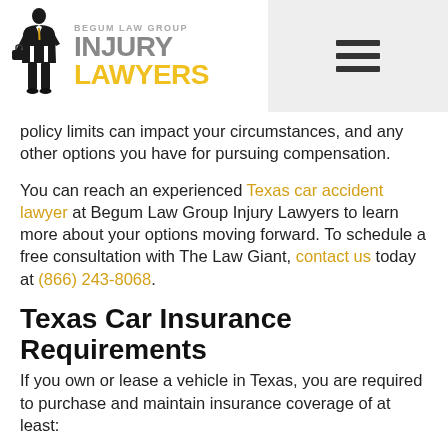[Figure (logo): Begum Law Group Injury Lawyers logo with silhouette figure in suit and text BEGUM LAW GROUP / INJURY / LAWYERS]
policy limits can impact your circumstances, and any other options you have for pursuing compensation.
You can reach an experienced Texas car accident lawyer at Begum Law Group Injury Lawyers to learn more about your options moving forward. To schedule a free consultation with The Law Giant, contact us today at (866) 243-8068.
Texas Car Insurance Requirements
If you own or lease a vehicle in Texas, you are required to purchase and maintain insurance coverage of at least: